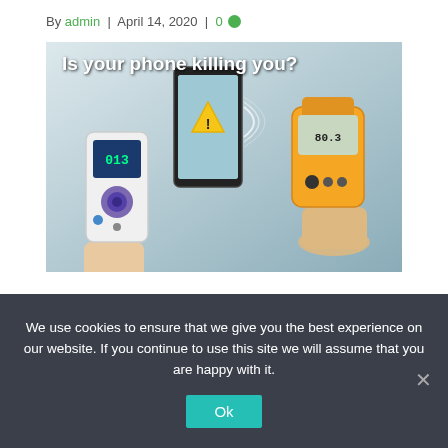By admin | April 14, 2020 | 0
[Figure (photo): Photo showing hands holding radiation measurement devices next to a smartphone with text overlay 'Is your phone killing you?']
How Much Radiation Are You Getting From Your Phone? In this video I show you how much microwave radiation is coming from your phone during a phone call and from wifi. I talk about what
We use cookies to ensure that we give you the best experience on our website. If you continue to use this site we will assume that you are happy with it.
Ok